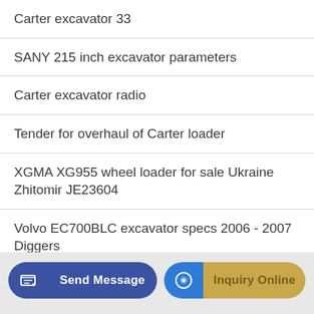Carter excavator 33
SANY 215 inch excavator parameters
Carter excavator radio
Tender for overhaul of Carter loader
XGMA XG955 wheel loader for sale Ukraine Zhitomir JE23604
Volvo EC700BLC excavator specs 2006 - 2007 Diggers
TOP 8 Biggest With Loader Backhoe buyers in Algeria
Send Message | Inquiry Online